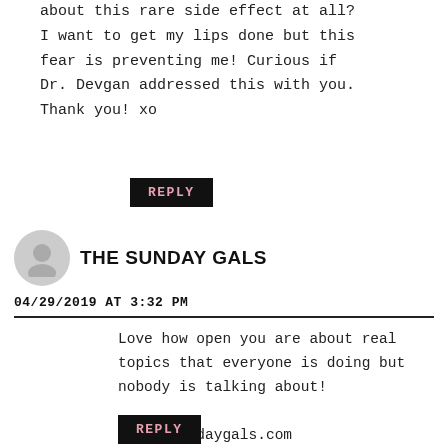about this rare side effect at all? I want to get my lips done but this fear is preventing me! Curious if Dr. Devgan addressed this with you. Thank you! xo
REPLY
THE SUNDAY GALS
04/29/2019 AT 3:32 PM
Love how open you are about real topics that everyone is doing but nobody is talking about!

Xx thesundaygals.com
REPLY